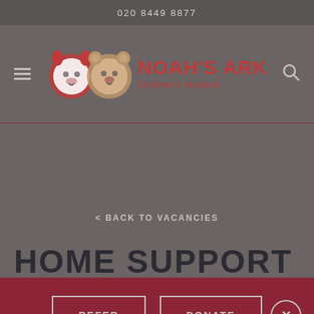020 8449 8877
[Figure (logo): Noah's Ark Children's Hospice logo with two illustrated animal faces (tiger and bear) and organization name in red]
< BACK TO VACANCIES
HOME SUPPORT
REFER
DONATE